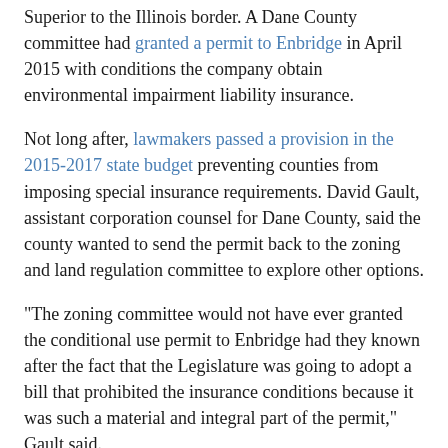Superior to the Illinois border. A Dane County committee had granted a permit to Enbridge in April 2015 with conditions the company obtain environmental impairment liability insurance.
Not long after, lawmakers passed a provision in the 2015-2017 state budget preventing counties from imposing special insurance requirements. David Gault, assistant corporation counsel for Dane County, said the county wanted to send the permit back to the zoning and land regulation committee to explore other options.
"The zoning committee would not have ever granted the conditional use permit to Enbridge had they known after the fact that the Legislature was going to adopt a bill that prohibited the insurance conditions because it was such a material and integral part of the permit," Gault said.
The county contested the matter in court to determine whether the law was retroactive and whether they could reconsider the